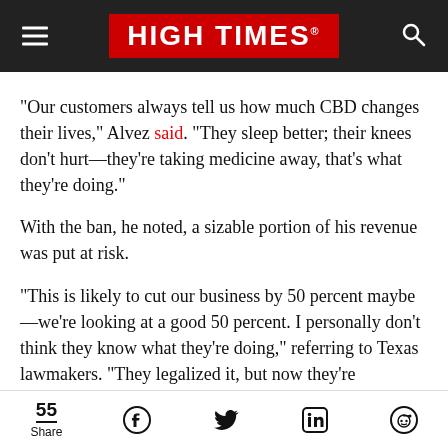HIGH TIMES
“Our customers always tell us how much CBD changes their lives,” Alvez said. “They sleep better; their knees don’t hurt—they’re taking medicine away, that’s what they’re doing.”
With the ban, he noted, a sizable portion of his revenue was put at risk.
“This is likely to cut our business by 50 percent maybe—we’re looking at a good 50 percent. I personally don’t think they know what they’re doing,” referring to Texas lawmakers. “They legalized it, but now they’re
55 Share [Facebook] [Twitter] [LinkedIn] [Reddit]